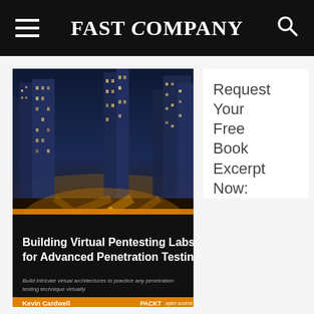FAST COMPANY
[Figure (photo): Book cover of 'Building Virtual Pentesting Labs for Advanced Penetration Testing' by Kevin Cardwell, published by Packt. The cover features an aerial night cityscape with illuminated skyscrapers and highway interchanges, a bold title on dark background, an orange banner, and the Packt publisher logo at the bottom.]
Request Your Free Book Excerpt Now: